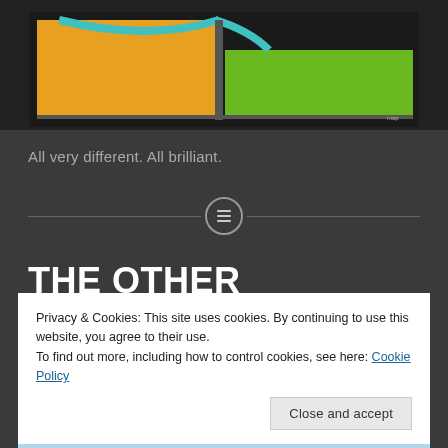[Figure (map): A zoomed-in map showing orange and green colored zones/regions with road/path lines on a dark background]
All very different. All brilliant.
THE OTHER KINGDOMS
Privacy & Cookies: This site uses cookies. By continuing to use this website, you agree to their use.
To find out more, including how to control cookies, see here: Cookie Policy
Close and accept